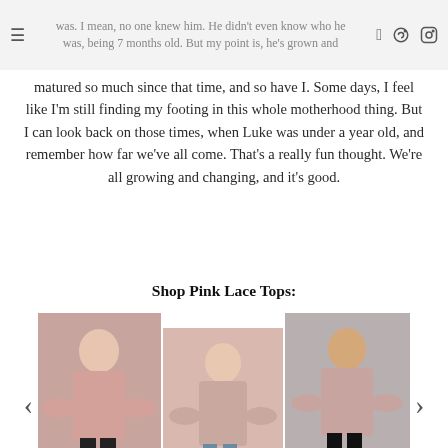was. I mean, no one knew him. He didn't even know who he was, being 7 months old. But my point is, he's grown and
matured so much since that time, and so have I. Some days, I feel like I'm still finding my footing in this whole motherhood thing. But I can look back on those times, when Luke was under a year old, and remember how far we've all come. That's a really fun thought. We're all growing and changing, and it's good.
Shop Pink Lace Tops:
[Figure (photo): Carousel of three pink lace tops worn by models, with left and right navigation arrows on either side.]
Why did this outfit remind me of the seasons of life? Mainly because it's pink lace, and that's one of my favorite things to wear, no matter what season of life I'm in. Pink and lace is just such a feminine and beautiful combination, and it always makes me feel more like myself, even during those early years